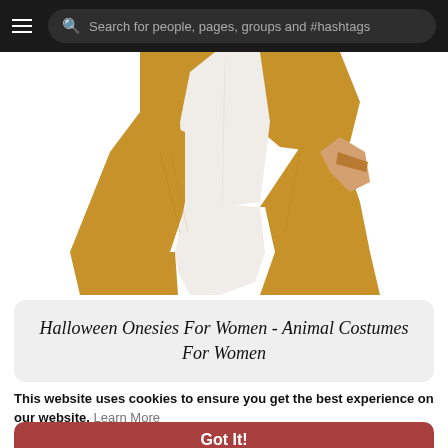Search for people, pages, groups and #hashtags
[Figure (photo): Partial view of a person wearing a golden-yellow animal onesie costume with white front panel, showing torso and legs from mid-chest down.]
Halloween Onesies For Women - Animal Costumes For Women
This website uses cookies to ensure you get the best experience on our website. Learn More
Got It!